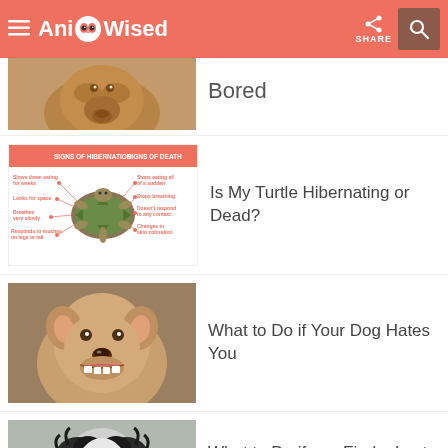AnimalWised — SHARE
[Figure (photo): Partial view of a brown dog looking at the camera, top of page]
Bored (partially visible title)
[Figure (infographic): Signs of Hibernation vs Signs of Death infographic with a turtle in the center. Left side: Slows down eating for weeks, Looks for space, Breathes very slowly, Responds to touches on legs or tail. Right side: Stops eating all of a sudden, Stops breathing, Doesn't respond to any contact, Changes in skin coloration]
Is My Turtle Hibernating or Dead?
[Figure (photo): Close-up photo of a small dog baring its teeth aggressively]
What to Do if Your Dog Hates You
[Figure (photo): Photo of a shaggy black and white dog looking at camera]
What to Do if you Find a Lost Dog